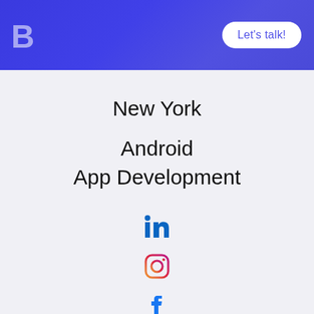Let's talk!
New York
Android
App Development
[Figure (logo): LinkedIn icon - bold 'in' text in blue]
[Figure (logo): Instagram icon - camera outline with gradient]
[Figure (logo): Facebook icon - bold 'f' in blue]
[Figure (logo): Twitter bird icon in blue]